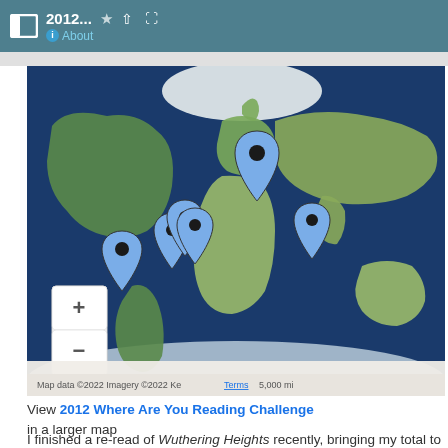2012... About
[Figure (map): Google My Maps showing world map with several blue location pins placed in North America, Europe, and East Africa regions. Zoom controls (+/-) visible. Map data ©2022 Imagery ©2022, Terms, 5,000 mi scale.]
View 2012 Where Are You Reading Challenge in a larger map
I finished a re-read of Wuthering Heights recently, bringing my total to